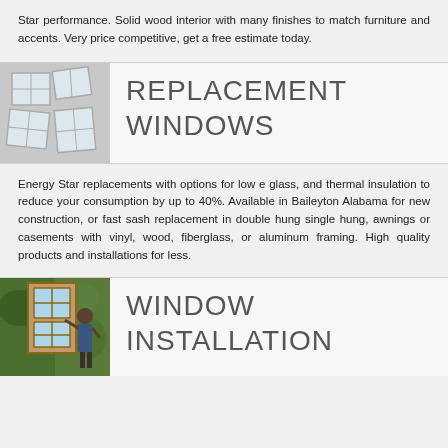Star performance. Solid wood interior with many finishes to match furniture and accents. Very price competitive, get a free estimate today.
[Figure (illustration): Multiple white-framed window panels shown at angles on a light gray background]
REPLACEMENT WINDOWS
Energy Star replacements with options for low e glass, and thermal insulation to reduce your consumption by up to 40%. Available in Baileyton Alabama for new construction, or fast sash replacement in double hung single hung, awnings or casements with vinyl, wood, fiberglass, or aluminum framing. High quality products and installations for less.
[Figure (photo): Person installing a wooden window frame from outside, lush green foliage visible in background]
WINDOW INSTALLATION